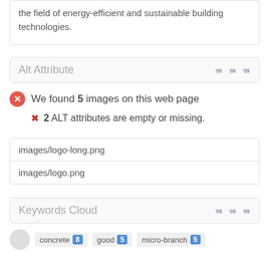the field of energy-efficient and sustainable building technologies.
Alt Attribute
We found 5 images on this web page
2 ALT attributes are empty or missing.
| images/logo-long.png |
| images/logo.png |
Keywords Cloud